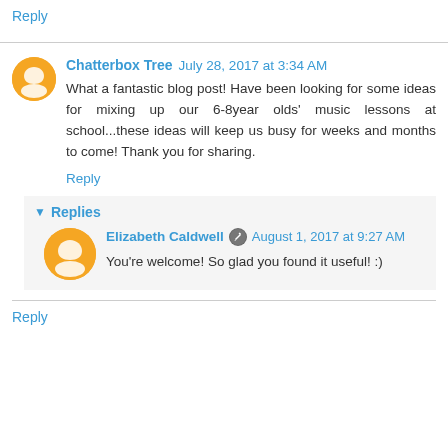Well. Enjoy!
Reply
Chatterbox Tree  July 28, 2017 at 3:34 AM
What a fantastic blog post! Have been looking for some ideas for mixing up our 6-8year olds' music lessons at school...these ideas will keep us busy for weeks and months to come! Thank you for sharing.
Reply
Replies
Elizabeth Caldwell  August 1, 2017 at 9:27 AM
You're welcome! So glad you found it useful! :)
Reply